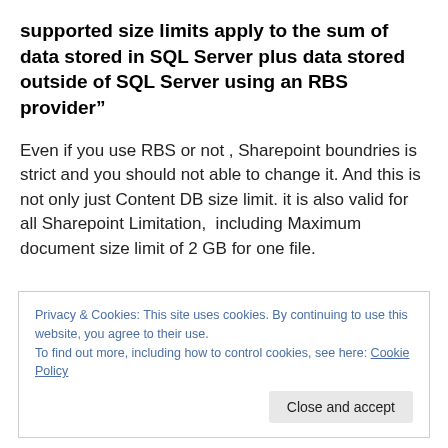supported size limits apply to the sum of data stored in SQL Server plus data stored outside of SQL Server using an RBS provider”
Even if you use RBS or not , Sharepoint boundries is strict and you should not able to change it. And this is not only just Content DB size limit. it is also valid for all Sharepoint Limitation,  including Maximum document size limit of 2 GB for one file.
Privacy & Cookies: This site uses cookies. By continuing to use this website, you agree to their use.
To find out more, including how to control cookies, see here: Cookie Policy